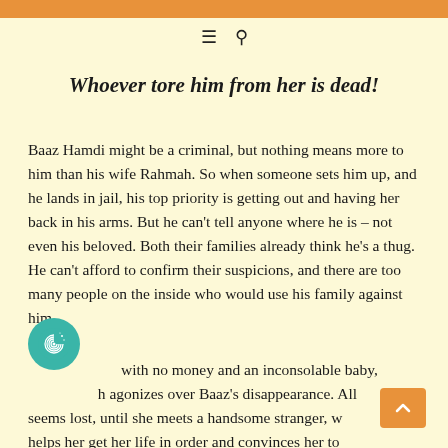☰  🔍
Whoever tore him from her is dead!
Baaz Hamdi might be a criminal, but nothing means more to him than his wife Rahmah. So when someone sets him up, and he lands in jail, his top priority is getting out and having her back in his arms. But he can't tell anyone where he is – not even his beloved. Both their families already think he's a thug. He can't afford to confirm their suspicions, and there are too many people on the inside who would use his family against him.
A with no money and an inconsolable baby, h agonizes over Baaz's disappearance. All seems lost, until she meets a handsome stranger, w helps her get her life in order and convinces her to